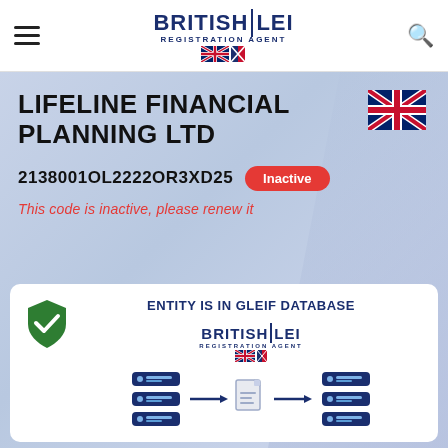BRITISH LEI REGISTRATION AGENT
LIFELINE FINANCIAL PLANNING LTD
2138001OL2222OR3XD25 Inactive
This code is inactive, please renew it
[Figure (infographic): ENTITY IS IN GLEIF DATABASE card with British LEI logo and a data-flow diagram showing servers connected by arrows through a document icon]